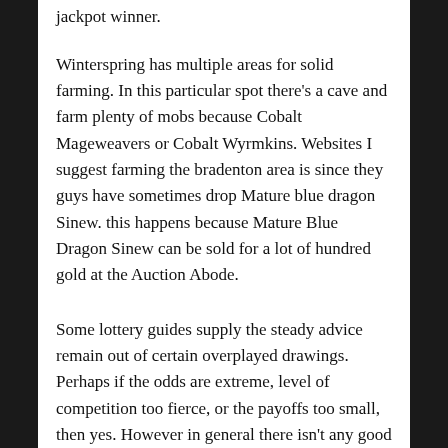jackpot winner.
Winterspring has multiple areas for solid farming. In this particular spot there's a cave and farm plenty of mobs because Cobalt Mageweavers or Cobalt Wyrmkins. Websites I suggest farming the bradenton area is since they guys have sometimes drop Mature blue dragon Sinew. this happens because Mature Blue Dragon Sinew can be sold for a lot of hundred gold at the Auction Abode.
Some lottery guides supply the steady advice remain out of certain overplayed drawings. Perhaps if the odds are extreme, level of competition too fierce, or the payoffs too small, then yes. However in general there isn't any good reason to sit out. Feel of this, visualize the numbers you getting rid of play were chosen